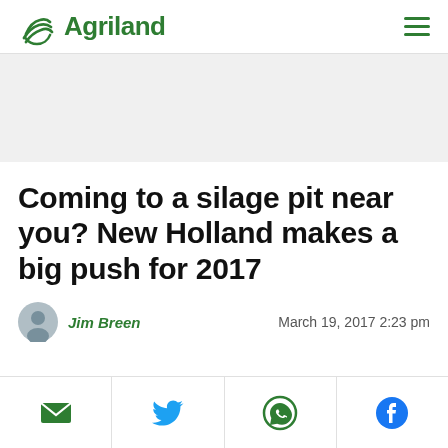Agriland
Coming to a silage pit near you? New Holland makes a big push for 2017
Jim Breen   March 19, 2017 2:23 pm
[Figure (other): Social share icons: email, Twitter, WhatsApp, Facebook]